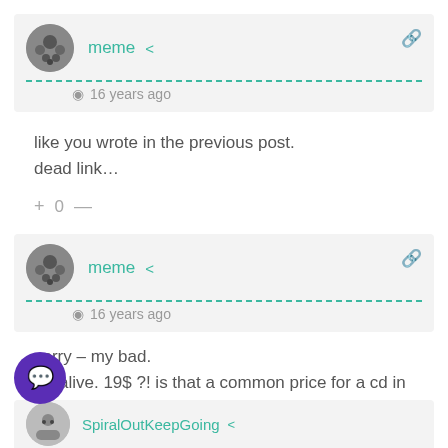meme  16 years ago
like you wrote in the previous post.
dead link...
+ 0 —
meme  16 years ago
sorry – my bad.
it's alive. 19$ ?! is that a common price for a cd in the states these days?
10  0 —
SpiralOutKeepGoing